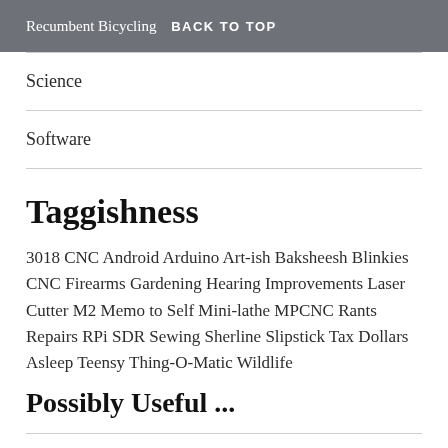Recumbent Bicycling   BACK TO TOP
Science
Software
Taggishness
3018 CNC Android Arduino Art-ish Baksheesh Blinkies CNC Firearms Gardening Hearing Improvements Laser Cutter M2 Memo to Self Mini-lathe MPCNC Rants Repairs RPi SDR Sewing Sherline Slipstick Tax Dollars Asleep Teensy Thing-O-Matic Wildlife
Possibly Useful ...
About & Copyright & Contact